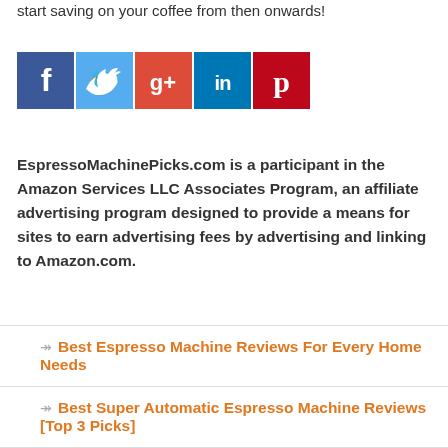start saving on your coffee from then onwards!
[Figure (other): Row of five social media sharing buttons: Facebook (blue), Twitter (light blue), Google+ (red/pink), LinkedIn (dark blue), Pinterest (dark red)]
EspressoMachinePicks.com is a participant in the Amazon Services LLC Associates Program, an affiliate advertising program designed to provide a means for sites to earn advertising fees by advertising and linking to Amazon.com.
Best Espresso Machine Reviews For Every Home Needs
Best Super Automatic Espresso Machine Reviews [Top 3 Picks]
Best Semi Automatic Espresso Machine